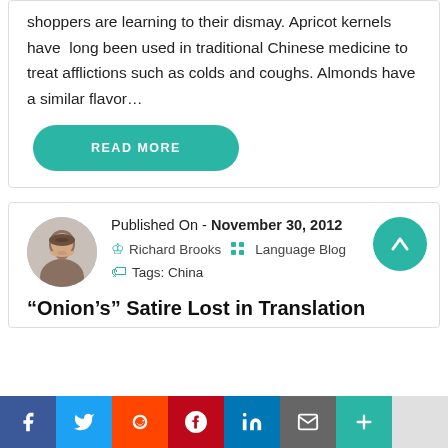shoppers are learning to their dismay. Apricot kernels have long been used in traditional Chinese medicine to treat afflictions such as colds and coughs. Almonds have a similar flavor…
READ MORE
Published On - November 30, 2012
Richard Brooks    Language Blog
Tags: China
“Onion’s” Satire Lost in Translation